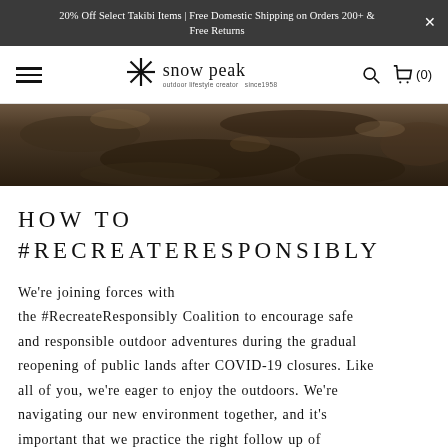20% Off Select Takibi Items | Free Domestic Shipping on Orders 200+ & Free Returns
[Figure (logo): Snow Peak logo with asterisk snowflake symbol and brand name]
[Figure (photo): Close-up of dark brown rocky/soil texture surface, hero image strip]
HOW TO #RECREATERESPONSIBLY
We're joining forces with the #RecreateResponsibly Coalition to encourage safe and responsible outdoor adventures during the gradual reopening of public lands after COVID-19 closures. Like all of you, we're eager to enjoy the outdoors. We're navigating our new environment together, and it's important that we practice the right follow up of